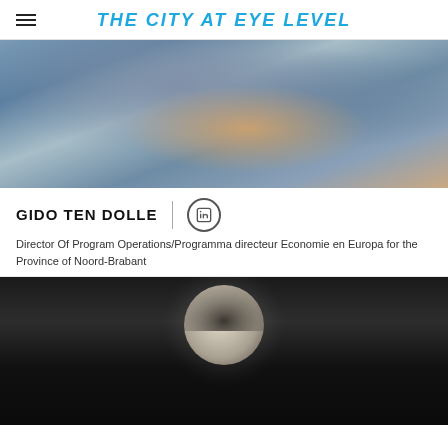THE CITY AT EYE LEVEL
[Figure (photo): Photo of Gido ten Dolle, a man in a blue suit with arms crossed]
GIDO TEN DOLLE
Director Of Program Operations/Programma directeur Economie en Europa for the Province of Noord-Brabant
[Figure (photo): Black and white photo of a person's head, top portion visible against dark background]